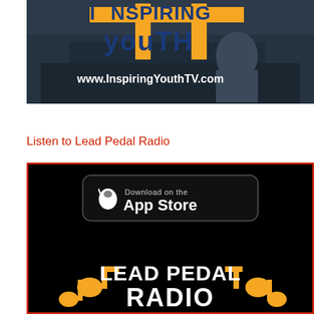[Figure (screenshot): Inspiring Youth TV promotional image showing bold orange/blue text 'INSPIRING YOUTH' with website URL www.InspiringYouthTV.com on a dark background with a person working in what appears to be a kitchen.]
Listen to Lead Pedal Radio
[Figure (screenshot): Lead Pedal Radio app promotional image on black background with red border, showing Apple App Store download button at top, and Lead Pedal Radio logo with orange musical notes at bottom.]